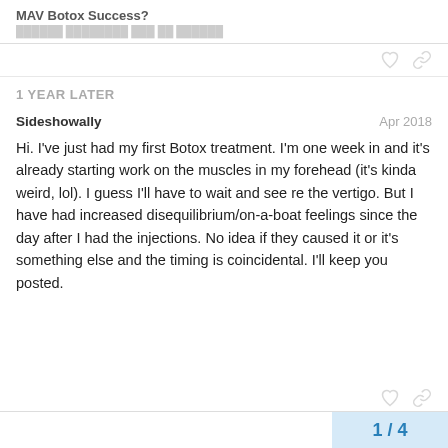MAV Botox Success?
1 YEAR LATER
Sideshowally   Apr 2018
Hi. I've just had my first Botox treatment. I'm one week in and it's already starting work on the muscles in my forehead (it's kinda weird, lol). I guess I'll have to wait and see re the vertigo. But I have had increased disequilibrium/on-a-boat feelings since the day after I had the injections. No idea if they caused it or it's something else and the timing is coincidental. I'll keep you posted.
1 / 4